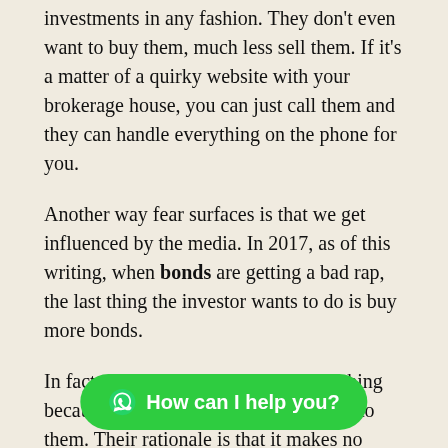investments in any fashion. They don't even want to buy them, much less sell them. If it's a matter of a quirky website with your brokerage house, you can just call them and they can handle everything on the phone for you.
Another way fear surfaces is that we get influenced by the media. In 2017, as of this writing, when bonds are getting a bad rap, the last thing the investor wants to do is buy more bonds.
In fact, many investors want to do nothing because even stocks seem overvalued to them. Their rationale is that it makes no sense for them to buy a fund which will just drop during the next market crash. In fact, even though your hot investments will soon correct, in the long-run they will keep going up
[Figure (other): Green WhatsApp-style chat button with text 'How can I help you?']